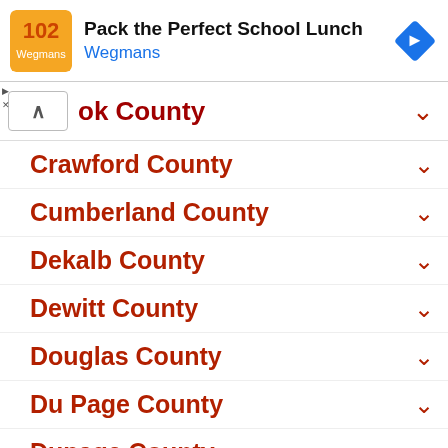[Figure (screenshot): Advertisement banner for 'Pack the Perfect School Lunch' by Wegmans with orange logo and blue navigation arrow icon]
ok County (expanded, caret up)
Crawford County
Cumberland County
Dekalb County
Dewitt County
Douglas County
Du Page County
Dupage County
Edgar County
Edwards County